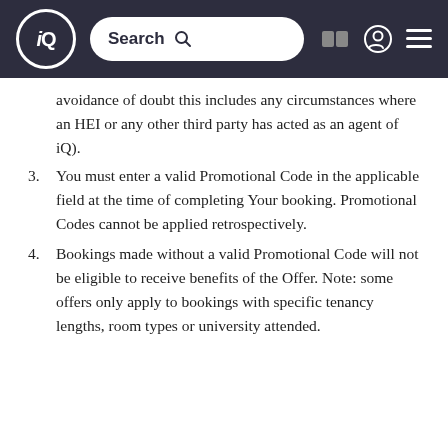iQ Search [icons]
avoidance of doubt this includes any circumstances where an HEI or any other third party has acted as an agent of iQ).
3. You must enter a valid Promotional Code in the applicable field at the time of completing Your booking. Promotional Codes cannot be applied retrospectively.
4. Bookings made without a valid Promotional Code will not be eligible to receive benefits of the Offer. Note: some offers only apply to bookings with specific tenancy lengths, room types or university attended.